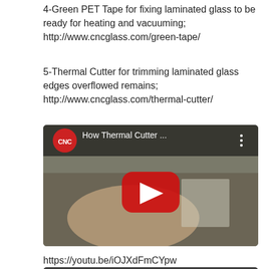4-Green PET Tape for fixing laminated glass to be ready for heating and vacuuming;
http://www.cncglass.com/green-tape/
5-Thermal Cutter for trimming laminated glass edges overflowed remains;
http://www.cncglass.com/thermal-cutter/
[Figure (screenshot): YouTube video thumbnail showing CNC channel logo and title 'How Thermal Cutter ...' with a red YouTube play button overlay on a video of a hand working with glass]
https://youtu.be/iOJXdFmCYpw
[Figure (screenshot): YouTube video thumbnail showing CNC channel logo and title 'GREEN masking tap...' partially visible at bottom of page]